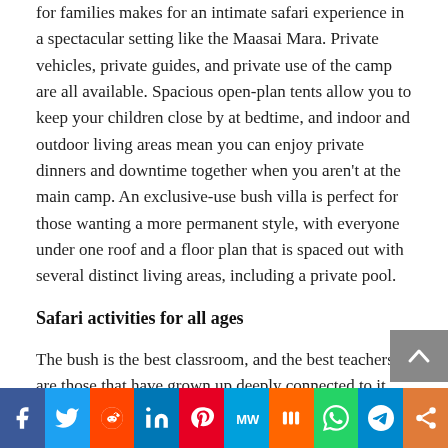for families makes for an intimate safari experience in a spectacular setting like the Maasai Mara. Private vehicles, private guides, and private use of the camp are all available. Spacious open-plan tents allow you to keep your children close by at bedtime, and indoor and outdoor living areas mean you can enjoy private dinners and downtime together when you aren't at the main camp. An exclusive-use bush villa is perfect for those wanting a more permanent style, with everyone under one roof and a floor plan that is spaced out with several distinct living areas, including a private pool.
Safari activities for all ages
The bush is the best classroom, and the best teachers are those that have grown up deeply connected to it. During a family safari in Kenya, you will be astonished at how the guides and trackers find endless opportunities for